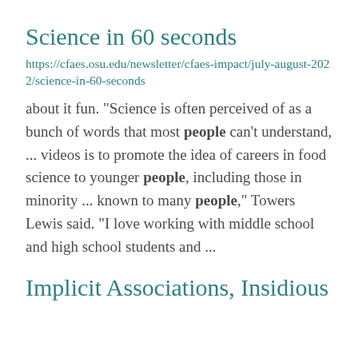Science in 60 seconds
https://cfaes.osu.edu/newsletter/cfaes-impact/july-august-2022/science-in-60-seconds
about it fun. "Science is often perceived of as a bunch of words that most people can’t understand, ... videos is to promote the idea of careers in food science to younger people, including those in minority ... known to many people,” Towers Lewis said. “I love working with middle school and high school students and ...
Implicit Associations, Insidious